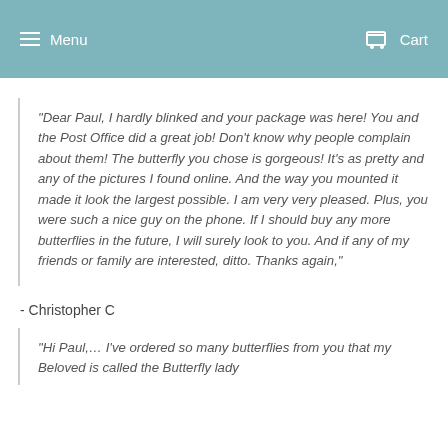Menu  Cart
“Dear Paul, I hardly blinked and your package was here! You and the Post Office did a great job! Don’t know why people complain about them! The butterfly you chose is gorgeous! It’s as pretty and any of the pictures I found online. And the way you mounted it made it look the largest possible. I am very very pleased. Plus, you were such a nice guy on the phone. If I should buy any more butterflies in the future, I will surely look to you. And if any of my friends or family are interested, ditto. Thanks again,”
- Christopher C
“Hi Paul,… I’ve ordered so many butterflies from you that my Beloved is called the Butterfly lady